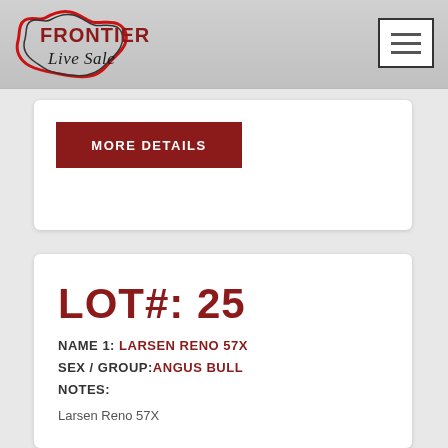[Figure (logo): Frontier Live Sale logo with red and black cattle head silhouette and stylized text]
MORE DETAILS
LOT#: 25
NAME 1: LARSEN RENO 57X
SEX / GROUP: ANGUS BULL
NOTES:
Larsen Reno 57X